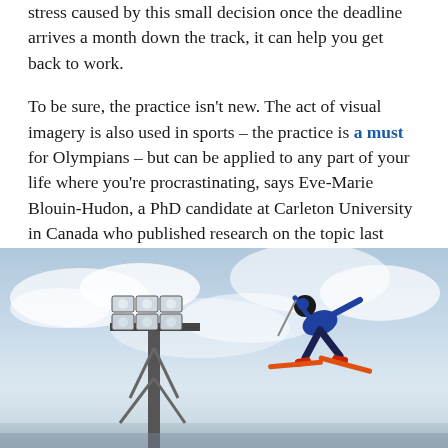stress caused by this small decision once the deadline arrives a month down the track, it can help you get back to work.
To be sure, the practice isn't new. The act of visual imagery is also used in sports – the practice is a must for Olympians – but can be applied to any part of your life where you're procrastinating, says Eve-Marie Blouin-Hudon, a PhD candidate at Carleton University in Canada who published research on the topic last year.
[Figure (photo): A freestyle skier performing an aerial jump against a cloudy sky, with a large stadium floodlight tower visible on the left side of the image.]